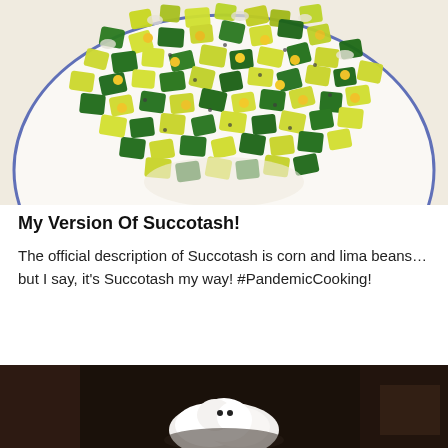[Figure (photo): A white bowl with a blue rim filled with diced zucchini succotash including corn and other vegetables, seasoned with black pepper, viewed from above on a light background.]
My Version Of Succotash!
The official description of Succotash is corn and lima beans…but I say, it's Succotash my way! #PandemicCooking!
[Figure (photo): A dark indoor scene showing what appears to be a white fluffy animal or object in a dimly lit room with furniture in the background.]